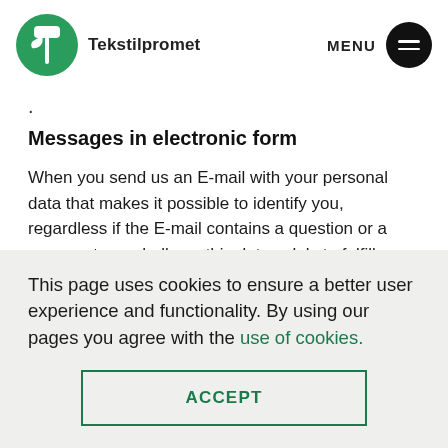Tekstilpromet  MENU
·
Messages in electronic form
When you send us an E-mail with your personal data that makes it possible to identify you, regardless if the E-mail contains a question or a comment, we shall use this data solely to fulfill your request. If required, your E-mail will be
This page uses cookies to ensure a better user experience and functionality. By using our pages you agree with the use of cookies.
ACCEPT